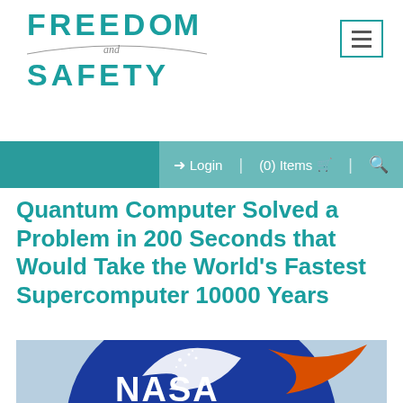FREEDOM and SAFETY
Quantum Computer Solved a Problem in 200 Seconds that Would Take the World's Fastest Supercomputer 10000 Years
[Figure (photo): NASA logo — blue circle with the word NASA in white letters and an orange swoosh, photographed against a sky background]